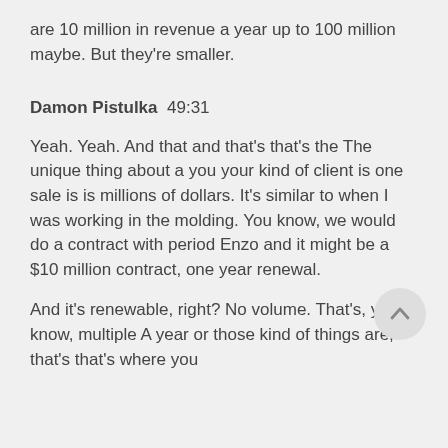are 10 million in revenue a year up to 100 million maybe. But they're smaller.
Damon Pistulka  49:31
Yeah. Yeah. And that and that's that's the The unique thing about a you your kind of client is one sale is is millions of dollars. It's similar to when I was working in the molding. You know, we would do a contract with period Enzo and it might be a $10 million contract, one year renewal.
And it's renewable, right? No volume. That's, you know, multiple A year or those kind of things are, that's that's where you